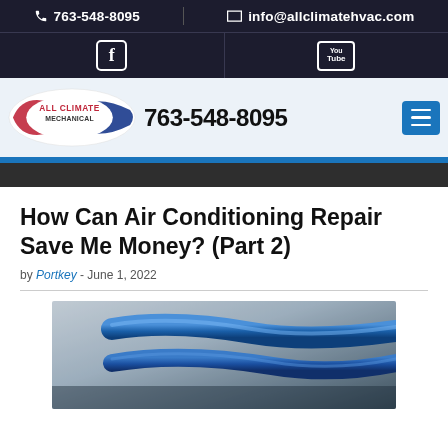763-548-8095 | info@allclimatehvac.com
[Figure (logo): All Climate Mechanical logo with red and blue oval swoosh]
763-548-8095
How Can Air Conditioning Repair Save Me Money? (Part 2)
by Portkey - June 1, 2022
[Figure (photo): AC refrigerant lines / hoses in blue against a blurred background]